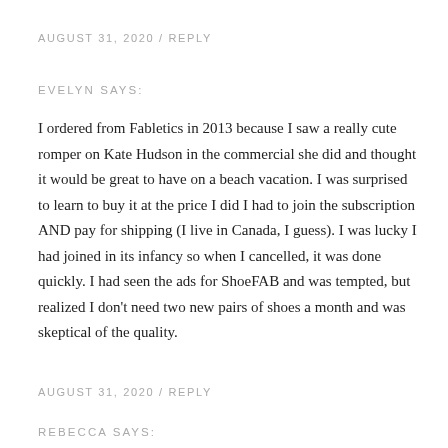AUGUST 31, 2020  /  REPLY
EVELYN SAYS:
I ordered from Fabletics in 2013 because I saw a really cute romper on Kate Hudson in the commercial she did and thought it would be great to have on a beach vacation. I was surprised to learn to buy it at the price I did I had to join the subscription AND pay for shipping (I live in Canada, I guess). I was lucky I had joined in its infancy so when I cancelled, it was done quickly. I had seen the ads for ShoeFAB and was tempted, but realized I don't need two new pairs of shoes a month and was skeptical of the quality.
AUGUST 31, 2020  /  REPLY
REBECCA SAYS: